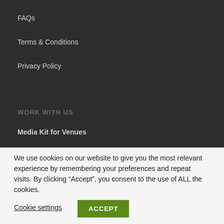FAQs
Terms & Conditions
Privacy Policy
WORK WITH US
Media Kit for Venues
We use cookies on our website to give you the most relevant experience by remembering your preferences and repeat visits. By clicking “Accept”, you consent to the use of ALL the cookies.
Cookie settings
ACCEPT